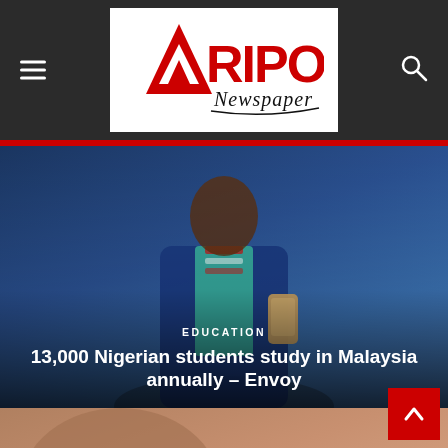Afripost Newspaper
[Figure (photo): Person in academic/cultural dress holding a phone, with text overlay showing EDUCATION category and article headline]
EDUCATION
13,000 Nigerian students study in Malaysia annually – Envoy
[Figure (photo): Close-up portrait of an older African man wearing glasses, looking downward]